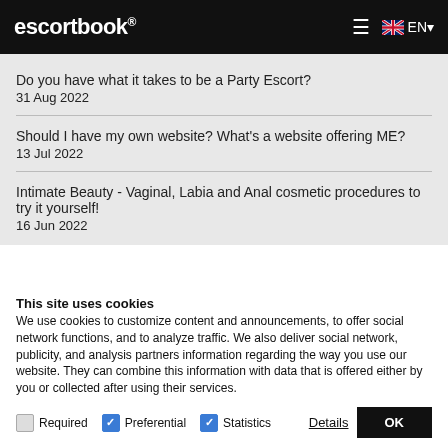escortbook® EN
Do you have what it takes to be a Party Escort?
31 Aug 2022
Should I have my own website? What's a website offering ME?
13 Jul 2022
Intimate Beauty - Vaginal, Labia and Anal cosmetic procedures to try it yourself!
16 Jun 2022
This site uses cookies
We use cookies to customize content and announcements, to offer social network functions, and to analyze traffic. We also deliver social network, publicity, and analysis partners information regarding the way you use our website. They can combine this information with data that is offered either by you or collected after using their services.
Required  Preferential  Statistics  Details  OK